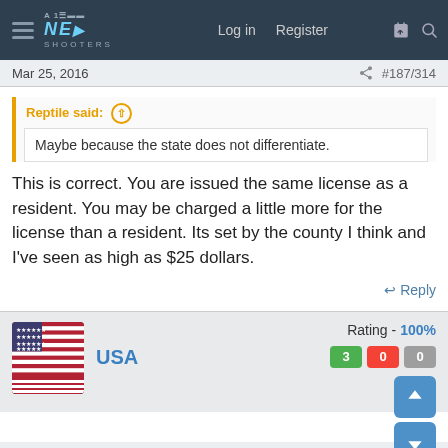NE Shooters forum header with Log in, Register navigation
Mar 25, 2016   #187/314
Reptile said:
Maybe because the state does not differentiate.
This is correct. You are issued the same license as a resident. You may be charged a little more for the license than a resident. Its set by the county I think and I've seen as high as $25 dollars.
Reply
USA   Rating - 100%   3   0   0
Apr 27, 2016   #188/314
07Mustang said: